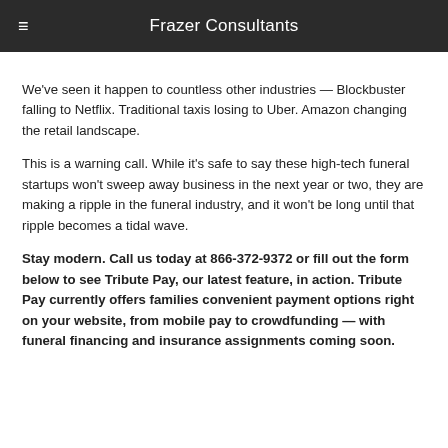Frazer Consultants
We've seen it happen to countless other industries — Blockbuster falling to Netflix. Traditional taxis losing to Uber. Amazon changing the retail landscape.
This is a warning call. While it's safe to say these high-tech funeral startups won't sweep away business in the next year or two, they are making a ripple in the funeral industry, and it won't be long until that ripple becomes a tidal wave.
Stay modern. Call us today at 866-372-9372 or fill out the form below to see Tribute Pay, our latest feature, in action. Tribute Pay currently offers families convenient payment options right on your website, from mobile pay to crowdfunding — with funeral financing and insurance assignments coming soon.